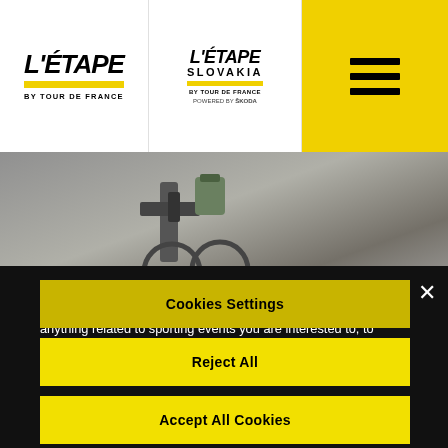[Figure (logo): L'ETAPE by Tour de France logo (left header)]
[Figure (logo): L'ETAPE SLOVAKIA by Tour de France powered by SKODA logo (center header)]
[Figure (other): Hamburger menu icon (three horizontal bars) on yellow background (right header)]
[Figure (photo): Background photo showing a cyclist or cycling gear, partially visible]
We use cookies to enhance your experience, improve site performance, analyze its traffic, to allow you to purchase anything related to sporting events you are interested to, to provide social networks features and to show you relevant tailored adverts, from us or from our partners.
Cookies Settings
Reject All
Accept All Cookies